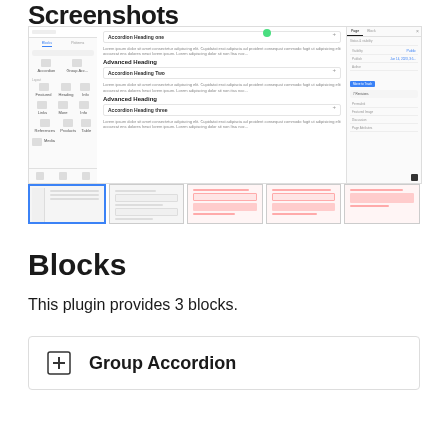Screenshots
[Figure (screenshot): WordPress plugin editor screenshot showing accordion blocks with headings, sidebar panels, and thumbnail strip of 5 views]
Blocks
This plugin provides 3 blocks.
Group Accordion